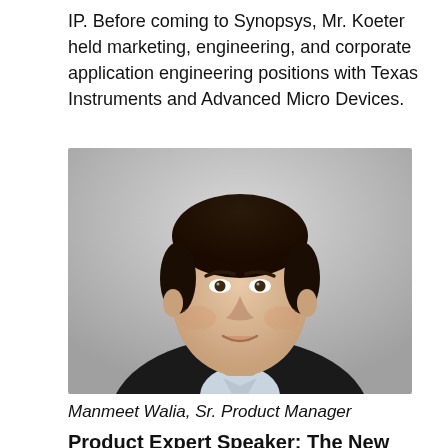IP. Before coming to Synopsys, Mr. Koeter held marketing, engineering, and corporate application engineering positions with Texas Instruments and Advanced Micro Devices.
[Figure (photo): Professional headshot portrait of Manmeet Walia, Sr. Product Manager, a man with dark hair wearing a dark blazer and light-colored shirt, against a grey gradient background.]
Manmeet Walia, Sr. Product Manager
Product Expert Speaker: The New